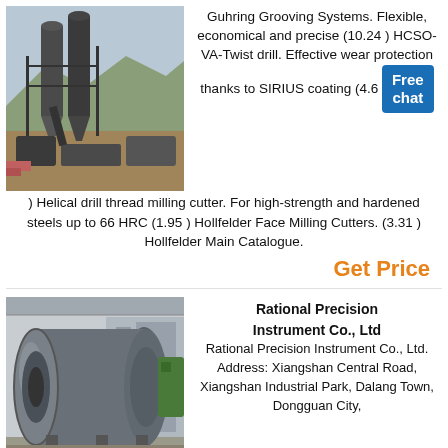[Figure (photo): Industrial machinery/plant equipment at an outdoor construction or mining site with large silos and processing equipment]
Guhring Grooving Systems. Flexible, economical and precise (10.24 ) HCSO-VA-Twist drill. Effective wear protection thanks to SIRIUS coating (4.6
) Helical drill thread milling cutter. For high-strength and hardened steels up to 66 HRC (1.95 ) Hollfelder Face Milling Cutters. (3.31 ) Hollfelder Main Catalogue.
Get Price
[Figure (photo): Large industrial cylindrical drum or ball mill on a flatbed truck in a warehouse/factory setting]
Rational Precision Instrument Co., Ltd
Rational Precision Instrument Co., Ltd. Address: Xiangshan Central Road, Xiangshan Industrial Park, Dalang Town, Dongguan City,